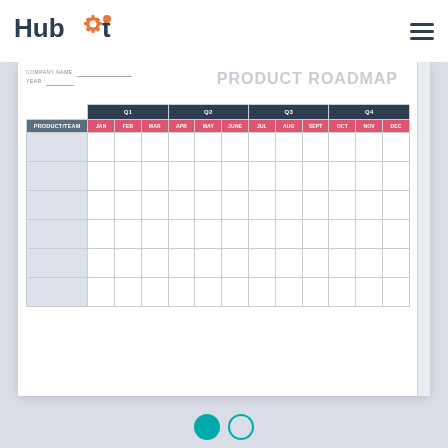[Figure (logo): HubSpot logo with orange gear/sprocket icon in the word mark]
[Figure (other): Hamburger menu icon (three horizontal lines)]
PRODUCT ROADMAP
COMPANY NAME _______________
YEAR ________
| PRODUCT/TEAM | Q1 (JAN, FEB, MAR) | Q2 (APR, MAY, JUNE) | Q3 (JUL, AUG, SEPT) | Q4 (OCT, NOV, DEC) |
| --- | --- | --- | --- | --- |
|  |  |  |  |  |
|  |  |  |  |  |
|  |  |  |  |  |